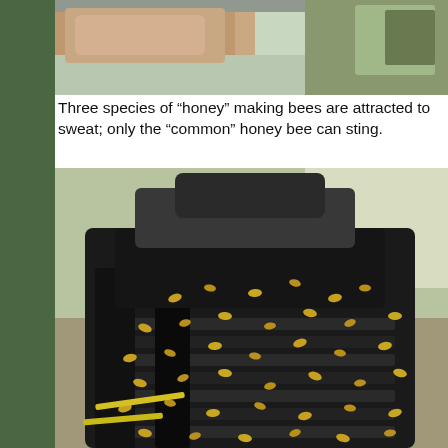[Figure (photo): Partial photo at top showing a person's arm/skin, cropped, with green background on left side bar]
Three species of “honey” making bees are attracted to sweat; only the “common” honey bee can sting.
[Figure (photo): Close-up photograph of a black shoe/boot covered with dozens of small honey bees, set against an outdoor background with dirt and a yellow object visible]